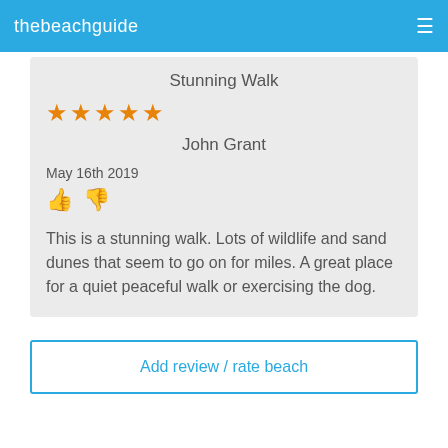thebeachguide
Stunning Walk
★★★★★
John Grant
May 16th 2019
This is a stunning walk. Lots of wildlife and sand dunes that seem to go on for miles. A great place for a quiet peaceful walk or exercising the dog.
Add review / rate beach